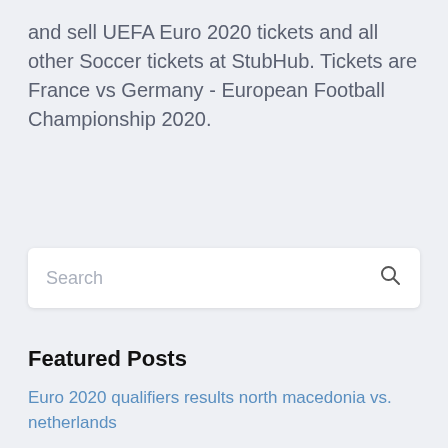and sell UEFA Euro 2020 tickets and all other Soccer tickets at StubHub. Tickets are France vs Germany - European Football Championship 2020.
Search
Featured Posts
Euro 2020 qualifiers results north macedonia vs. netherlands